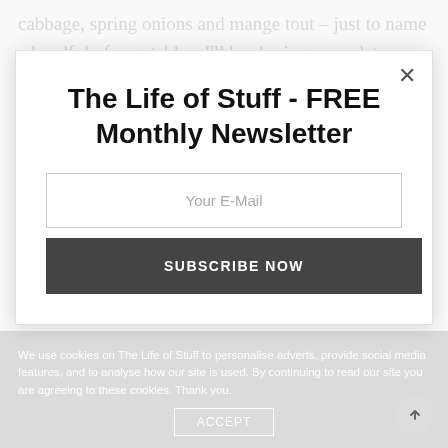cabbage, spring onions and mange tout – just to name a handful of vegetables. I'll be sharing an update on my spring harvest soon so do pop back.
The Life of Stuff - FREE Monthly Newsletter
Your E-Mail
SUBSCRIBE NOW
We use cookies on The Life of Stuff to personalise adverts, provide social media features, and to analyse how our site is used. By continuing to read our site you are agreeing to these cookies. Thank you.
ACCEPT